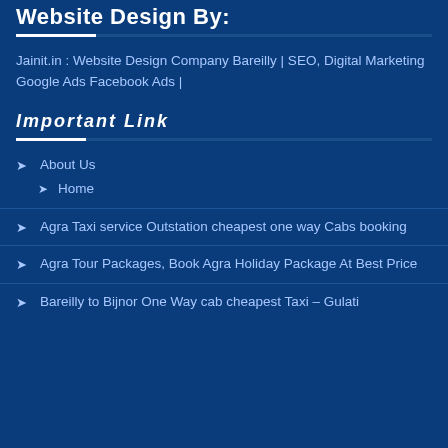Website Design By:
Jainit.in : Website Design Company Bareilly | SEO, Digital Marketing Google Ads Facebook Ads |
Important Link
About Us
Home
Agra Taxi service Outstation cheapest one way Cabs booking
Agra Tour Packages, Book Agra Holiday Package At Best Price
Bareilly to Bijnor One Way cab cheapest Taxi – Gulati